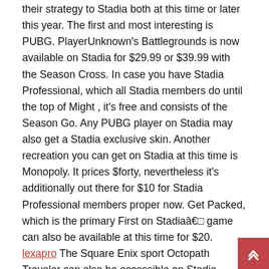their strategy to Stadia both at this time or later this year. The first and most interesting is PUBG. PlayerUnknown's Battlegrounds is now available on Stadia for $29.99 or $39.99 with the Season Cross. In case you have Stadia Professional, which all Stadia members do until the top of Might , it's free and consists of the Season Go. Any PUBG player on Stadia may also get a Stadia exclusive skin. Another recreation you can get on Stadia at this time is Monopoly. It prices $forty, nevertheless it's additionally out there for $10 for Stadia Professional members proper now. Get Packed, which is the primary First on Stadiaâ€ game can also be available at this time for $20. lexapro The Square Enix sport Octopath Traveler can also be accessible on Stadia beginning in the present day for $59.99.